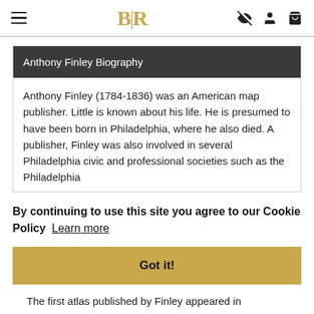BLR — navigation bar with hamburger menu, logo, and icons
Anthony Finley Biography
Anthony Finley (1784-1836) was an American map publisher. Little is known about his life. He is presumed to have been born in Philadelphia, where he also died. A publisher, Finley was also involved in several Philadelphia civic and professional societies such as the Philadelphia
By continuing to use this site you agree to our Cookie Policy  Learn more
Got it!
The first atlas published by Finley appeared in